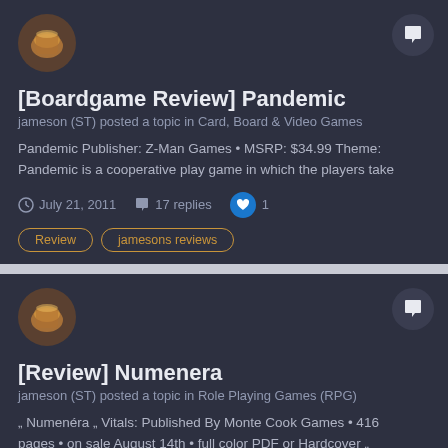[Figure (photo): User avatar showing whiskey glass icon]
[Boardgame Review] Pandemic
jameson (ST) posted a topic in Card, Board & Video Games
Pandemic Publisher: Z-Man Games • MSRP: $34.99 Theme: Pandemic is a cooperative play game in which the players take
July 21, 2011   17 replies   1
Review
jamesons reviews
[Figure (photo): User avatar showing whiskey glass icon]
[Review] Numenera
jameson (ST) posted a topic in Role Playing Games (RPG)
„ Numenéra „ Vitals: Published By Monte Cook Games • 416 pages • on sale August 14th • full color PDF or Hardcover „
August 6, 2013   61 replies